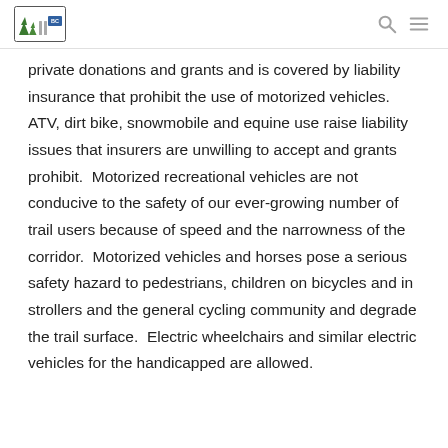[Logo: trail organization] [search icon] [menu icon]
private donations and grants and is covered by liability insurance that prohibit the use of motorized vehicles.  ATV, dirt bike, snowmobile and equine use raise liability issues that insurers are unwilling to accept and grants prohibit.  Motorized recreational vehicles are not conducive to the safety of our ever-growing number of trail users because of speed and the narrowness of the corridor.  Motorized vehicles and horses pose a serious safety hazard to pedestrians, children on bicycles and in strollers and the general cycling community and degrade the trail surface.  Electric wheelchairs and similar electric vehicles for the handicapped are allowed.